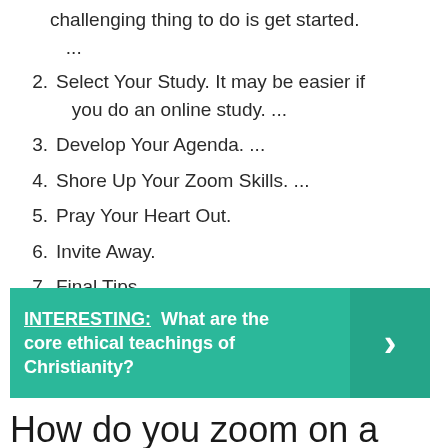challenging thing to do is get started. ...
2. Select Your Study. It may be easier if you do an online study. ...
3. Develop Your Agenda. ...
4. Shore Up Your Zoom Skills. ...
5. Pray Your Heart Out.
6. Invite Away.
7. Final Tips. ...
8. Be Brave and Go For It!
INTERESTING: What are the core ethical teachings of Christianity?
How do you zoom on a Bible study?